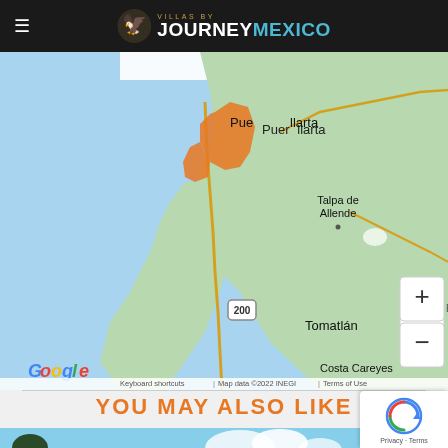Villas by Journey Mexico
[Figure (map): Google Maps view showing the Puerto Vallarta region of Mexico with an orange highlighted area near Puerto Vallarta, showing Talpa de Allende to the east, Tomatlán to the south, Costa Careyes further south, with zoom controls (+/-). Map data ©2022 INEGI.]
YOU MAY ALSO LIKE
[Figure (photo): Partial view of a tropical beach/resort scene with palm trees and blue sky, partially obscured.]